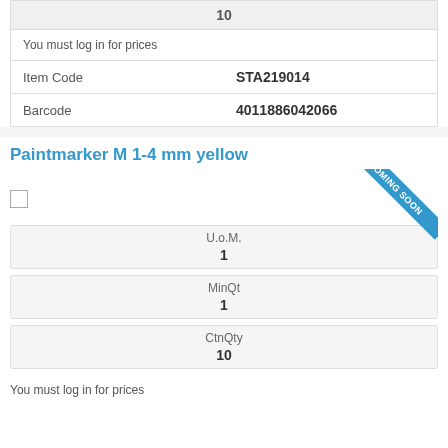| 10 |
| You must log in for prices |
| Item Code | STA219014 |
| Barcode | 4011886042066 |
Paintmarker M 1-4 mm yellow
U.o.M. 1
MinQt 1
CtnQty 10
You must log in for prices